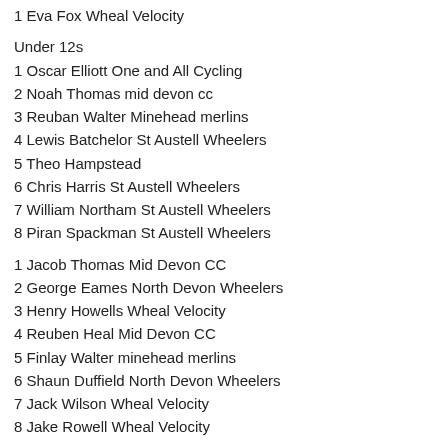1 Eva Fox Wheal Velocity
Under 12s
1 Oscar Elliott One and All Cycling
2 Noah Thomas mid devon cc
3 Reuban Walter Minehead merlins
4 Lewis Batchelor St Austell Wheelers
5 Theo Hampstead
6 Chris Harris St Austell Wheelers
7 William Northam St Austell Wheelers
8 Piran Spackman St Austell Wheelers
1 Jacob Thomas Mid Devon CC
2 George Eames North Devon Wheelers
3 Henry Howells Wheal Velocity
4 Reuben Heal Mid Devon CC
5 Finlay Walter minehead merlins
6 Shaun Duffield North Devon Wheelers
7 Jack Wilson Wheal Velocity
8 Jake Rowell Wheal Velocity
Under 16
1 Samuel Berry Wheal Velocity
2 Harry Jukes Wheal Velocity
3 George Eames north devon wheelers
4 Nathan Dowding Tavistock Whlrs NorthShoreGallery